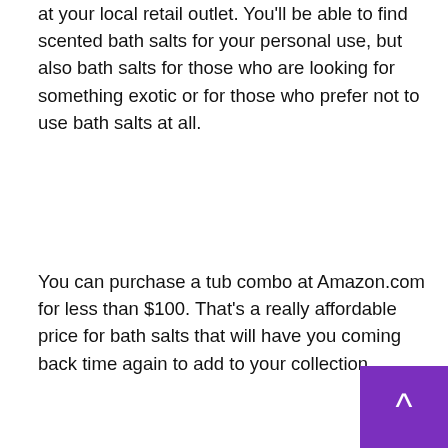at your local retail outlet. You'll be able to find scented bath salts for your personal use, but also bath salts for those who are looking for something exotic or for those who prefer not to use bath salts at all.
You can purchase a tub combo at Amazon.com for less than $100. That's a really affordable price for bath salts that will have you coming back time again to add to your collection.
u can find bath salt in several scents as well. The best thing about bath salts like these is that they will never lose ir scent and there are only a few scents that will never nge no matter how often you use them.
The best way to shop for bath salt is to do it online retailers are very competitive, so your best bet is to start